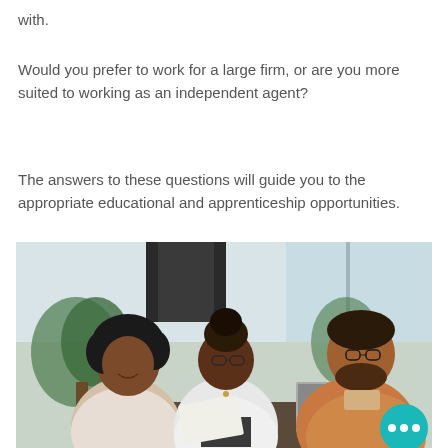with.
Would you prefer to work for a large firm, or are you more suited to working as an independent agent?
The answers to these questions will guide you to the appropriate educational and apprenticeship opportunities.
[Figure (photo): Three professionals in an office setting — two women and one man — looking at documents together. Plants and windows visible in background. A teal chat/more button visible in bottom-right corner.]